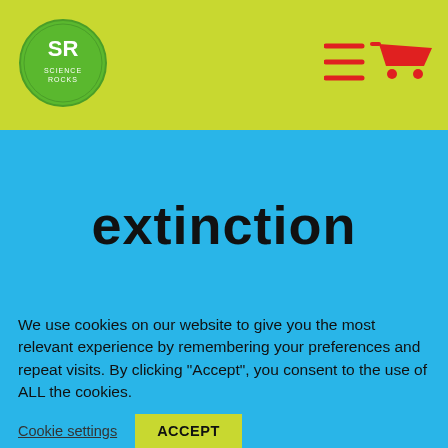SR logo and navigation with hamburger menu and shopping cart icons
extinction
We use cookies on our website to give you the most relevant experience by remembering your preferences and repeat visits. By clicking "Accept", you consent to the use of ALL the cookies.
Cookie settings
ACCEPT